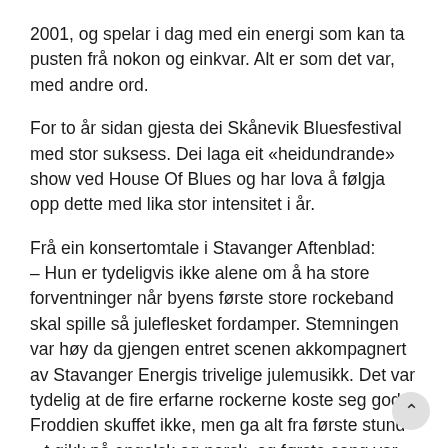2001, og spelar i dag med ein energi som kan ta pusten frå nokon og einkvar. Alt er som det var, med andre ord.
For to år sidan gjesta dei Skånevik Bluesfestival med stor suksess. Dei laga eit «heidundrande» show ved House Of Blues og har lova å følgja opp dette med lika stor intensitet i år.
Frå ein konsertomtale i Stavanger Aftenblad:
– Hun er tydeligvis ikke alene om å ha store forventninger når byens første store rockeband skal spille så juleflesket fordamper. Stemningen var høy da gjengen entret scenen akkompagnert av Stavanger Energis trivelige julemusikk. Det var tydelig at de fire erfarne rockerne koste seg godt. Froddien skuffet ikke, men ga alt fra første stund t gikk på engelsk og norsk, og første sang var original nok «Blue Christmas» framført i kongelig stil. Med